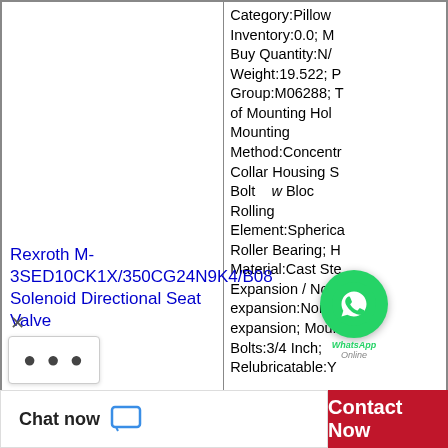Category:Pillow Inventory:0.0; M Buy Quantity:N/A; Weight:19.522; P Group:M06288; T of Mounting Hol; Mounting Method:Concentr Collar Housing S Bolt w Bloc Rolling Element:Spherical Roller Bearing; H Material:Cast Ste Expansion / Non-expansion:Non-expansion; Moun Bolts:3/4 Inch; Relubricatable:Y
Rexroth M-3SED10CK1X/350CG24N9K4/B08 Solenoid Directional Seat Valve
Chat now
Contact Now